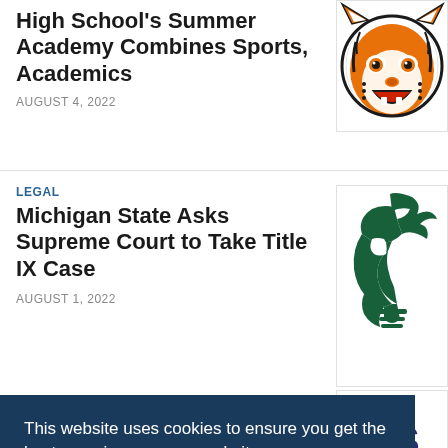High School's Summer Academy Combines Sports, Academics
AUGUST 4, 2022
[Figure (logo): Tiger mascot logo with orange and black colors]
LEGAL
Michigan State Asks Supreme Court to Take Title IX Case
AUGUST 1, 2022
[Figure (logo): Michigan State Spartan helmet logo in dark green]
[Figure (logo): Partial logo showing letters AS and DISTRIC text in dark purple]
This website uses cookies to ensure you get the best experience on our website.
Learn more
Got it!